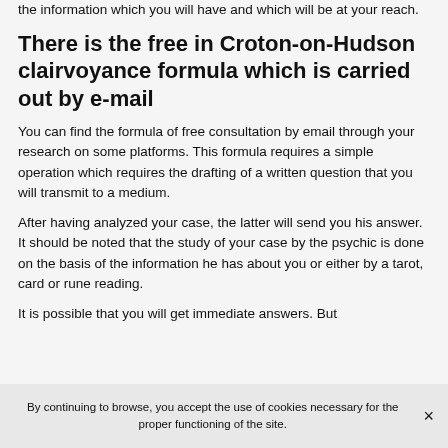the information which you will have and which will be at your reach.
There is the free in Croton-on-Hudson clairvoyance formula which is carried out by e-mail
You can find the formula of free consultation by email through your research on some platforms. This formula requires a simple operation which requires the drafting of a written question that you will transmit to a medium.
After having analyzed your case, the latter will send you his answer. It should be noted that the study of your case by the psychic is done on the basis of the information he has about you or either by a tarot, card or rune reading.
It is possible that you will get immediate answers. But
By continuing to browse, you accept the use of cookies necessary for the proper functioning of the site.